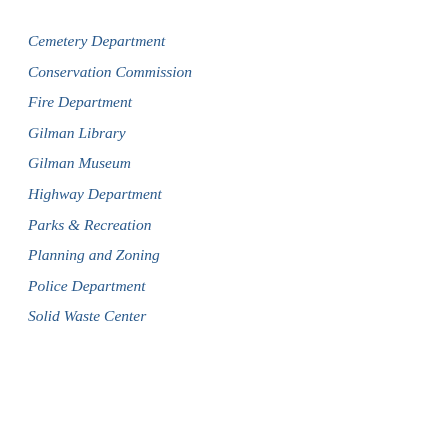Cemetery Department
Conservation Commission
Fire Department
Gilman Library
Gilman Museum
Highway Department
Parks & Recreation
Planning and Zoning
Police Department
Solid Waste Center